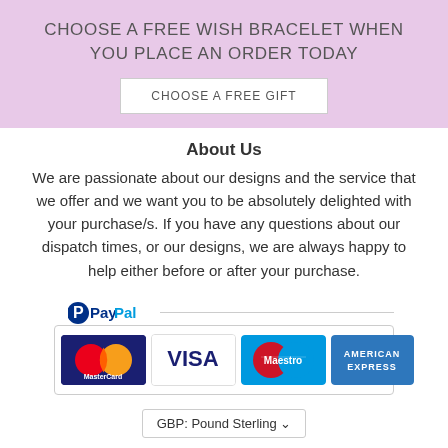CHOOSE A FREE WISH BRACELET WHEN YOU PLACE AN ORDER TODAY
CHOOSE A FREE GIFT
About Us
We are passionate about our designs and the service that we offer and we want you to be absolutely delighted with your purchase/s. If you have any questions about our dispatch times, or our designs, we are always happy to help either before or after your purchase.
[Figure (logo): Payment methods: PayPal, MasterCard, VISA, Maestro, American Express]
GBP: Pound Sterling